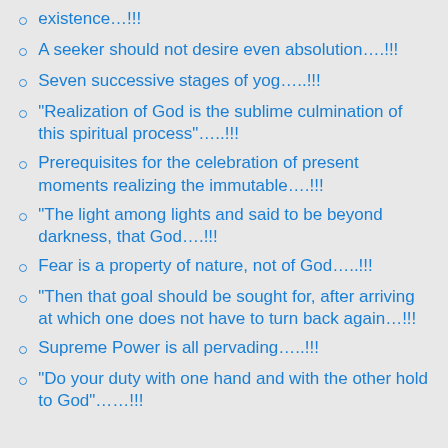existence…!!!
A seeker should not desire even absolution….!!!
Seven successive stages of yog…..!!!
“Realization of God is the sublime culmination of this spiritual process”…..!!!
Prerequisites for the celebration of present moments realizing the immutable….!!!
“The light among lights and said to be beyond darkness, that God….!!!
Fear is a property of nature, not of God…..!!!
“Then that goal should be sought for, after arriving at which one does not have to turn back again…!!!
Supreme Power is all pervading…..!!!
“Do your duty with one hand and with the other hold to God”……!!!